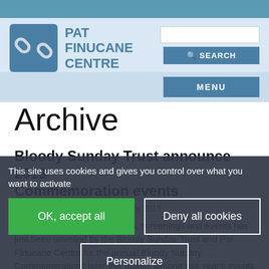[Figure (logo): Pat Finucane Centre logo with chain link icon and site name]
Archive
Bloody Sunday Trust announce 2019 Commemoration events
Bloody Sunday Trust | 14 January 2019
A powerful programme of talks, screenings and events has just been unveiled by the Bloody Sunday Trust and Pat Finucane Centre for the annual Bloody Sunday Commemorations later this month. Among this year's events
This site uses cookies and gives you control over what you want to activate